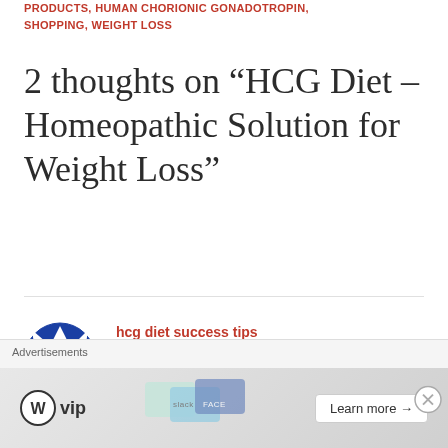PRODUCTS, HUMAN CHORIONIC GONADOTROPIN, SHOPPING, WEIGHT LOSS
2 thoughts on “HCG Diet – Homeopathic Solution for Weight Loss”
hcg diet success tips
October 31, 2012 at 12:00  Reply
[Figure (illustration): Blue and white circular avatar/logo with a snowflake or star shape in center]
Advertisements
[Figure (screenshot): WordPress VIP advertisement banner with 'Learn more' button and background showing social media brand cards]